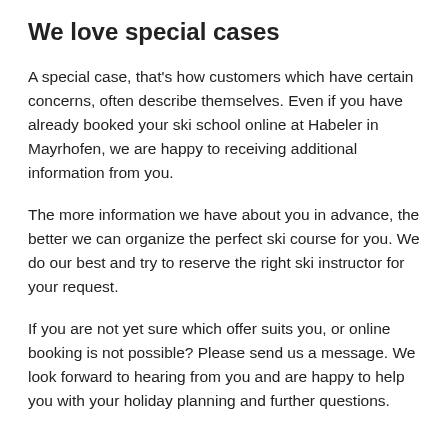We love special cases
A special case, that's how customers which have certain concerns, often describe themselves. Even if you have already booked your ski school online at Habeler in Mayrhofen, we are happy to receiving additional information from you.
The more information we have about you in advance, the better we can organize the perfect ski course for you. We do our best and try to reserve the right ski instructor for your request.
If you are not yet sure which offer suits you, or online booking is not possible? Please send us a message. We look forward to hearing from you and are happy to help you with your holiday planning and further questions.